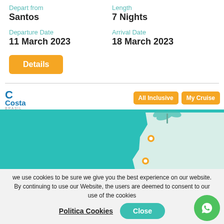Depart from
Santos
Length
7 Nights
Departure Date
11 March 2023
Arrival Date
18 March 2023
Details
[Figure (map): Partial map of Brazil coastline with teal ocean and light land area, showing two orange location pins on the coast]
All Inclusive
My Cruise
we use cookies to be sure we give you the best experience on our website. By continuing to use our Website, the users are deemed to consent to our use of the cookies
Politica Cookies
Close